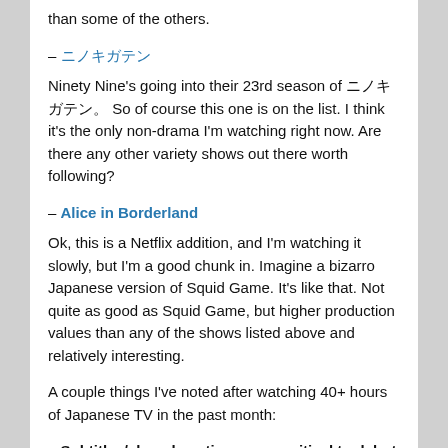than some of the others.
– ニノキガテン
Ninety Nine's going into their 23rd season of ニノキガテン So of course this one is on the list. I think it’s the only non-drama I’m watching right now. Are there any other variety shows out there worth following?
– Alice in Borderland
Ok, this is a Netflix addition, and I’m watching it slowly, but I’m a good chunk in. Imagine a bizarro Japanese version of Squid Game. It’s like that. Not quite as good as Squid Game, but higher production values than any of the shows listed above and relatively interesting.
A couple things I’ve noted after watching 40+ hours of Japanese TV in the past month:
– Subtitles/closed captions are a critical tool, but you need to practice watching with and without subtitles. I noticed a striking difference when I actively use the